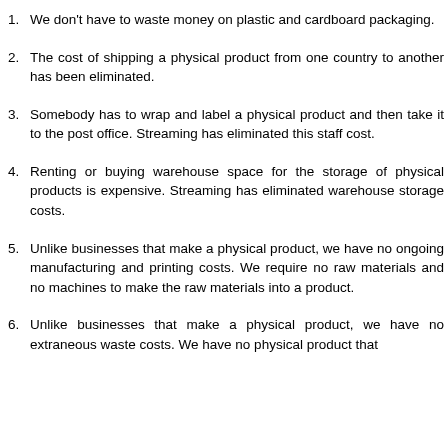1. We don't have to waste money on plastic and cardboard packaging.
2. The cost of shipping a physical product from one country to another has been eliminated.
3. Somebody has to wrap and label a physical product and then take it to the post office. Streaming has eliminated this staff cost.
4. Renting or buying warehouse space for the storage of physical products is expensive. Streaming has eliminated warehouse storage costs.
5. Unlike businesses that make a physical product, we have no ongoing manufacturing and printing costs. We require no raw materials and no machines to make the raw materials into a product.
6. Unlike businesses that make a physical product, we have no extraneous waste costs. We have no physical product that...